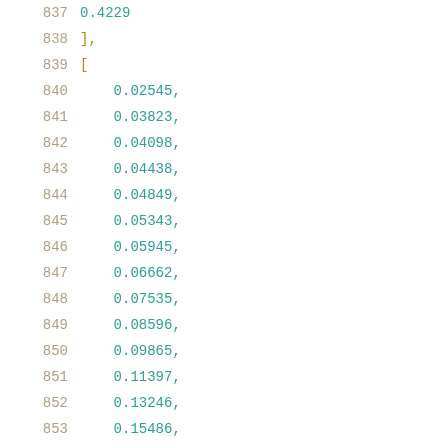837    0.4229
838    ],
839    [
840        0.02545,
841        0.03823,
842        0.04098,
843        0.04438,
844        0.04849,
845        0.05343,
846        0.05945,
847        0.06662,
848        0.07535,
849        0.08596,
850        0.09865,
851        0.11397,
852        0.13246,
853        0.15486,
854        0.18157,
855        0.21449,
856        0.25348,
857        0.29983,
858        0.35662,